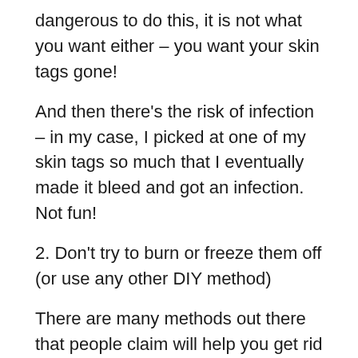dangerous to do this, it is not what you want either – you want your skin tags gone!
And then there's the risk of infection – in my case, I picked at one of my skin tags so much that I eventually made it bleed and got an infection. Not fun!
2. Don't try to burn or freeze them off (or use any other DIY method)
There are many methods out there that people claim will help you get rid of your skin tags, such as burning them off with nail polish remover (this is the weirdest one I've seen), freezing them off with wart remover and more. This might sound like